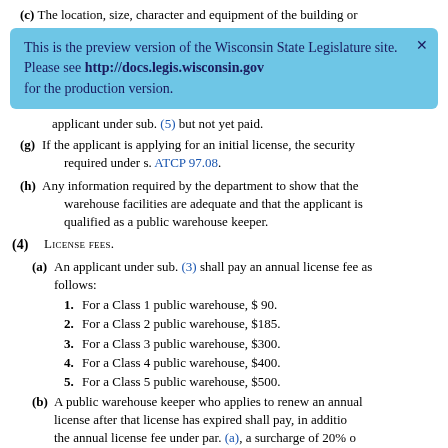(c) The location, size, character and equipment of the building or
[Figure (infographic): Blue banner overlay: 'This is the preview version of the Wisconsin State Legislature site. Please see http://docs.legis.wisconsin.gov for the production version.' with a close X button.]
applicant under sub. (5) but not yet paid.
(g) If the applicant is applying for an initial license, the security required under s. ATCP 97.08.
(h) Any information required by the department to show that the warehouse facilities are adequate and that the applicant is qualified as a public warehouse keeper.
(4) LICENSE FEES.
(a) An applicant under sub. (3) shall pay an annual license fee as follows:
1. For a Class 1 public warehouse, $ 90.
2. For a Class 2 public warehouse, $185.
3. For a Class 3 public warehouse, $300.
4. For a Class 4 public warehouse, $400.
5. For a Class 5 public warehouse, $500.
(b) A public warehouse keeper who applies to renew an annual license after that has expired shall pay, in addition the annual license fee under par. (a), a surcharge of 20% of